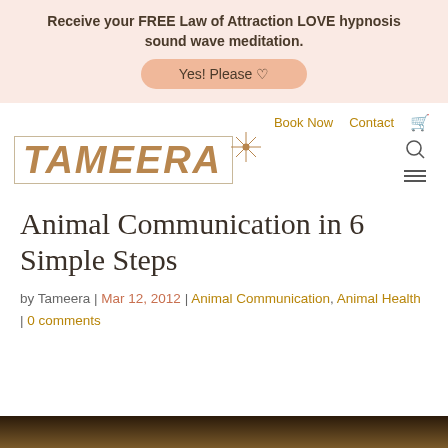Receive your FREE Law of Attraction LOVE hypnosis sound wave meditation.
Yes! Please ♡
Book Now  Contact 🛒
[Figure (logo): Tameera logo in brown italic bold text inside a rectangular border with a star sparkle accent]
Animal Communication in 6 Simple Steps
by Tameera | Mar 12, 2012 | Animal Communication, Animal Health | 0 comments
[Figure (photo): Partial view of an animal-related photo at the bottom of the page]